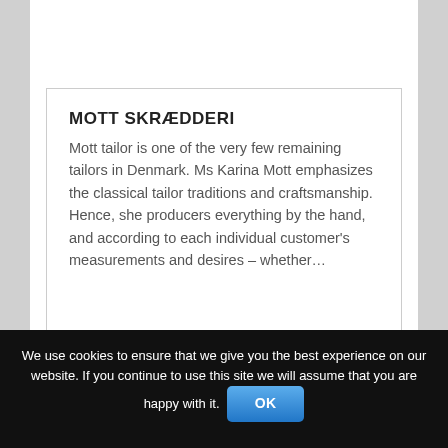MOTT SKRÆDDERI
Mott tailor is one of the very few remaining tailors in Denmark. Ms Karina Mott emphasizes the classical tailor traditions and craftsmanship. Hence, she producers everything by the hand, and according to each individual customer's measurements and desires – whether…
We use cookies to ensure that we give you the best experience on our website. If you continue to use this site we will assume that you are happy with it. OK